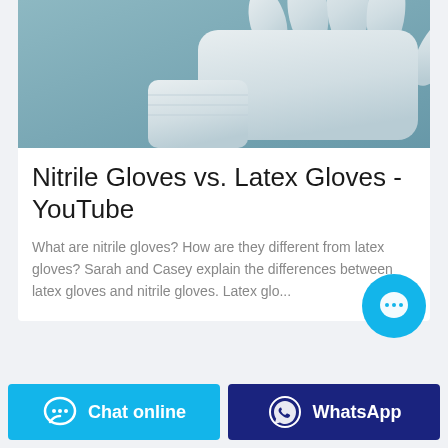[Figure (photo): A white latex/nitrile glove on a hand against a teal/grey background]
Nitrile Gloves vs. Latex Gloves - YouTube
What are nitrile gloves? How are they different from latex gloves? Sarah and Casey explain the differences between latex gloves and nitrile gloves. Latex glo...
[Figure (other): Cyan circular chat/message button with ellipsis icon]
[Figure (other): Chat online button (cyan) and WhatsApp button (dark blue) at the bottom of the page]